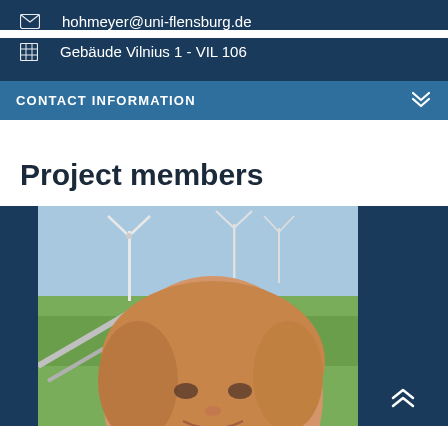hohmeyer@uni-flensburg.de
Gebäude Vilnius 1 - VIL 106
CONTACT INFORMATION
Project members
[Figure (photo): A woman with blonde hair smiling outdoors near wind turbines, with green fields and wind turbines visible in the background.]